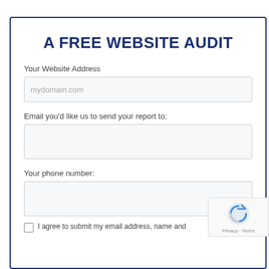A FREE WEBSITE AUDIT
Your Website Address
mydomain.com
Email you'd like us to send your report to:
Your phone number:
I agree to submit my email address, name and